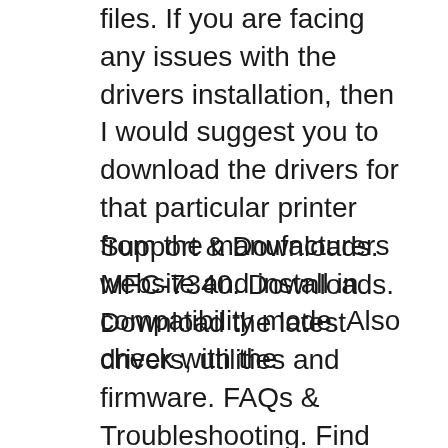files. If you are facing any issues with the drivers installation, then I would suggest you to download the drivers for that particular printer from the manufacturers website and install in compatibility mode. Also check with the
Support & Downloads. MFC-7340. Downloads. Download the latest drivers, utilities and firmware. FAQs & Troubleshooting. Find frequently asked questions and troubleshooting information. Manuals. View or download manuals for your product. Consumables & Accessories. Learn about consumable supplies, accessories and options available for your product. Supported OS. Check which operating systems...